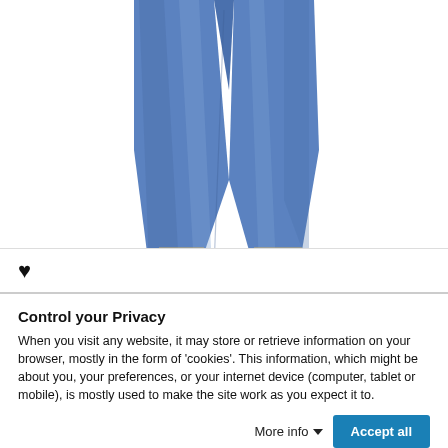[Figure (photo): Product photo of blue jeans (lower portion, from waist to ankles), shown on white background.]
[Figure (other): Heart/favorite icon inside a circular button area, with a horizontal divider line below.]
Control your Privacy
When you visit any website, it may store or retrieve information on your browser, mostly in the form of 'cookies'. This information, which might be about you, your preferences, or your internet device (computer, tablet or mobile), is mostly used to make the site work as you expect it to.
More info ⌄  Accept all